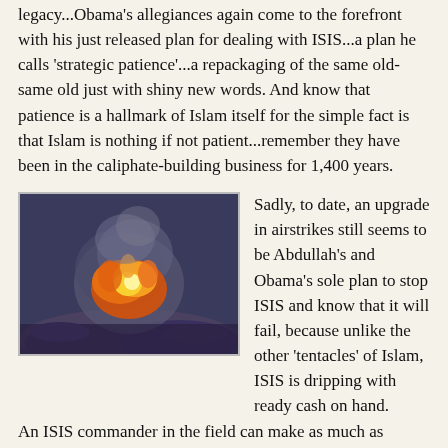legacy...Obama's allegiances again come to the forefront with his just released plan for dealing with ISIS...a plan he calls 'strategic patience'...a repackaging of the same old-same old just with shiny new words. And know that patience is a hallmark of Islam itself for the simple fact is that Islam is nothing if not patient...remember they have been in the caliphate-building business for 1,400 years.
[Figure (photo): Aerial or distant photograph showing an explosion with orange and yellow flames and smoke rising from rocky/rubble terrain.]
Sadly, to date, an upgrade in airstrikes still seems to be Abdullah's and Obama's sole plan to stop ISIS and know that it will fail, because unlike the other 'tentacles' of Islam, ISIS is dripping with ready cash on hand. An ISIS commander in the field can make as much as $1500.00 per day…something no other Islamic 'tentacle' can match...the Muslim Brotherhood can't pony up that kind of pay…al-Qaeda can't do it... Hamas can't even begin to match it nor can Boko Haram...and money is why so many young men are flocking to ISIS...that along with wanting the feel of infidel blood on their hands.
And also know that I and the military ministrator hold for